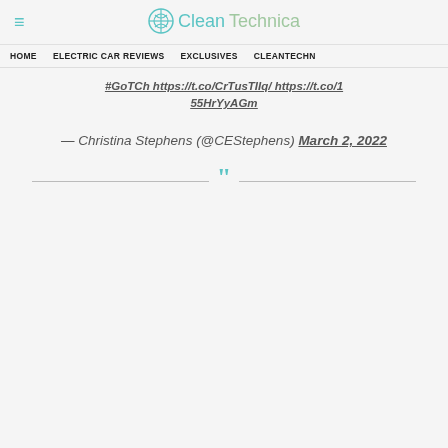CleanTechnica
HOME   ELECTRIC CAR REVIEWS   EXCLUSIVES   CLEANTECHN
#GoTCh https://t.co/CrTusTIIq/ https://t.co/155HrYyAGm
— Christina Stephens (@CEStephens) March 2, 2022